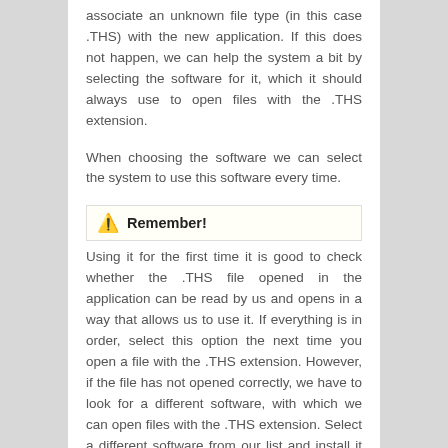associate an unknown file type (in this case .THS) with the new application. If this does not happen, we can help the system a bit by selecting the software for it, which it should always use to open files with the .THS extension.
When choosing the software we can select the system to use this software every time.
⚠ Remember!
Using it for the first time it is good to check whether the .THS file opened in the application can be read by us and opens in a way that allows us to use it. If everything is in order, select this option the next time you open a file with the .THS extension. However, if the file has not opened correctly, we have to look for a different software, with which we can open files with the .THS extension. Select a different software from our list and install it on your